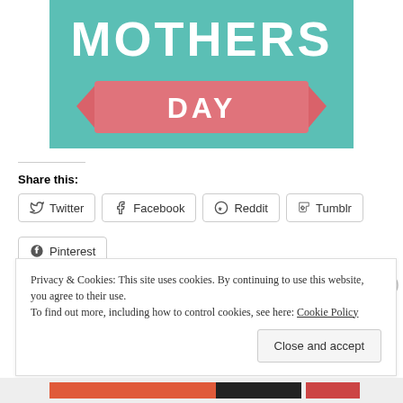[Figure (illustration): Mother's Day graphic with teal background, white text 'MOTHERS' and a pink ribbon banner with white text 'DAY']
Share this:
Twitter
Facebook
Reddit
Tumblr
Pinterest
Privacy & Cookies: This site uses cookies. By continuing to use this website, you agree to their use. To find out more, including how to control cookies, see here: Cookie Policy
Close and accept